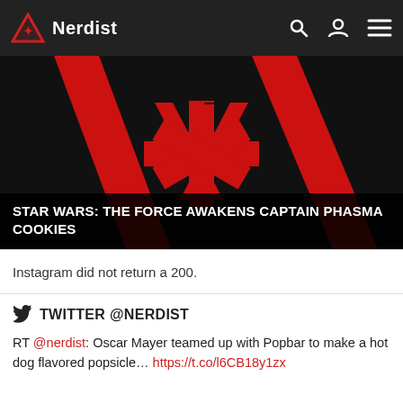Nerdist
[Figure (illustration): Star Wars: The Force Awakens Captain Phasma logo — red geometric symbol on black background with diagonal lines and a central asterisk-like mark]
STAR WARS: THE FORCE AWAKENS CAPTAIN PHASMA COOKIES
Instagram did not return a 200.
TWITTER @NERDIST
RT @nerdist: Oscar Mayer teamed up with Popbar to make a hot dog flavored popsicle... https://t.co/l6CB18y1zx